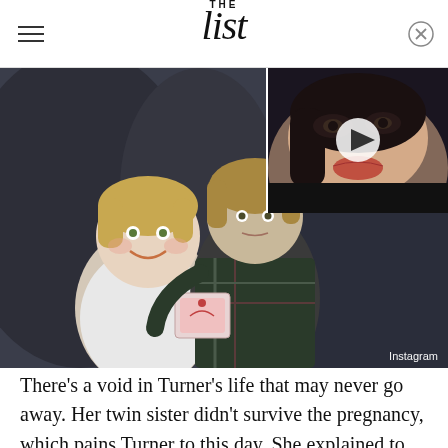THE list
[Figure (photo): Composite image: left side shows two young children (toddler and older child) in a vintage photograph with an Instagram watermark; right side shows a close-up of a young woman's face with a play button overlay, suggesting a video thumbnail.]
There's a void in Turner's life that may never go away. Her twin sister didn't survive the pregnancy, which pains Turner to this day. She explained to You (via Hollywood.com), "My mum had a miscarriage — my